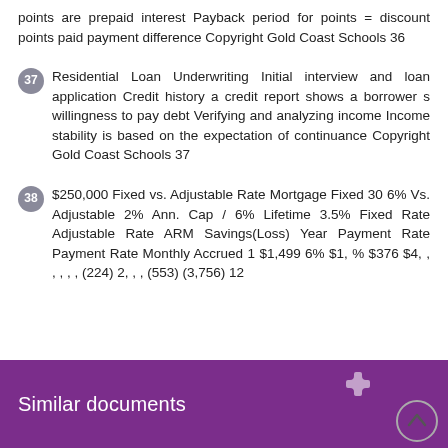points are prepaid interest Payback period for points = discount points paid payment difference Copyright Gold Coast Schools 36
37 Residential Loan Underwriting Initial interview and loan application Credit history a credit report shows a borrower s willingness to pay debt Verifying and analyzing income Income stability is based on the expectation of continuance Copyright Gold Coast Schools 37
38 $250,000 Fixed vs. Adjustable Rate Mortgage Fixed 30 6% Vs. Adjustable 2% Ann. Cap / 6% Lifetime 3.5% Fixed Rate Adjustable Rate ARM Savings(Loss) Year Payment Rate Payment Rate Monthly Accrued 1 $1,499 6% $1, % $376 $4, , , , , , (224) 2, , , (553) (3,756) 12
Similar documents